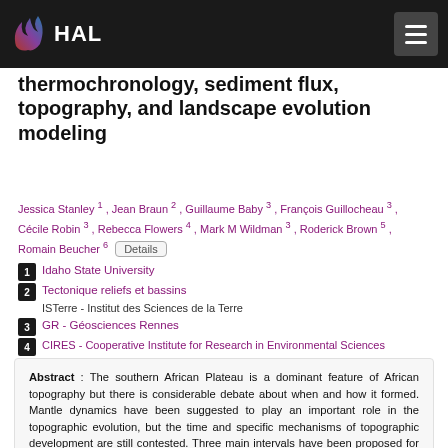HAL
thermochronology, sediment flux, topography, and landscape evolution modeling
Jessica Stanley 1 , Jean Braun 2 , Guillaume Baby 3 , François Guillocheau 3 , Cécile Robin 3 , Rebecca Flowers 4 , Mark M Wildman 3 , Roderick Brown 5 , Romain Beucher 6
1 Idaho State University
2 Tectonique reliefs et bassins
ISTerre - Institut des Sciences de la Terre
3 GR - Géosciences Rennes
4 CIRES - Cooperative Institute for Research in Environmental Sciences
5 University of Glasgow
6 School of Earth Sciences [Melbourne]
Abstract : The southern African Plateau is a dominant feature of African topography but there is considerable debate about when and how it formed. Mantle dynamics have been suggested to play an important role in the topographic evolution, but the time and specific mechanisms of topographic development are still contested. Three main intervals have been proposed for when most of the uplift occurred in southern Africa: 1) it